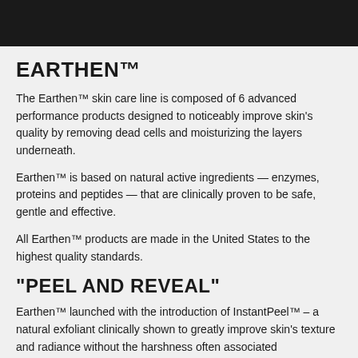[Figure (photo): Black banner image at the top of the page]
EARTHEN™
The Earthen™ skin care line is composed of 6 advanced performance products designed to noticeably improve skin's quality by removing dead cells and moisturizing the layers underneath.
Earthen™ is based on natural active ingredients — enzymes, proteins and peptides — that are clinically proven to be safe, gentle and effective.
All Earthen™ products are made in the United States to the highest quality standards.
"PEEL AND REVEAL"
Earthen™ launched with the introduction of InstantPeel™ – a natural exfoliant clinically shown to greatly improve skin's texture and radiance without the harshness often associated